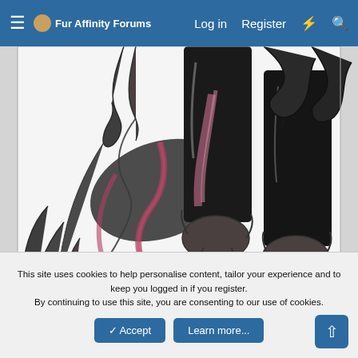≡ 🐾 Fur Affinity Forums   Log in   Register   ⚡   🔍
[Figure (illustration): Cropped illustration of an anthropomorphic character showing the lower body. The character has dark/black fur-covered legs, paws with claws, a large bushy dark grey tail with pink/maroon coloring, and appears to be wearing dark pants or bodysuit with pink stripe accents. Hand-drawn style artwork.]
This site uses cookies to help personalise content, tailor your experience and to keep you logged in if you register.
By continuing to use this site, you are consenting to our use of cookies.
✓ Accept   Learn more...